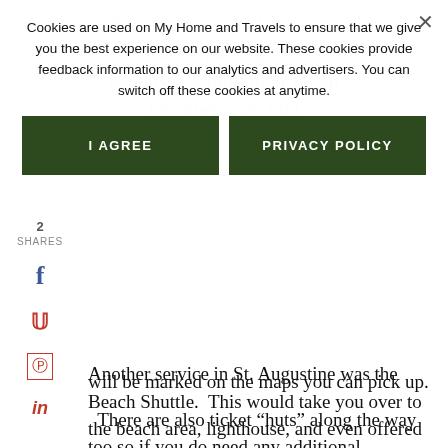Cookies are used on My Home and Travels to ensure that we give you the best experience on our website. These cookies provide feedback information to our analytics and advertisers. You can switch off these cookies at anytime.
I AGREE
PRIVACY POLICY
will be marked on the maps you can pick up.
There are also ticket “huts” along the way too so if you do need any additional information about sites or stops, this can be very helpful.
Another service in St. Augustine was the Beach Shuttle. This would take you over to the beach area, lighthouse, and even offered drop off/pick up at several hotels in the beach area.